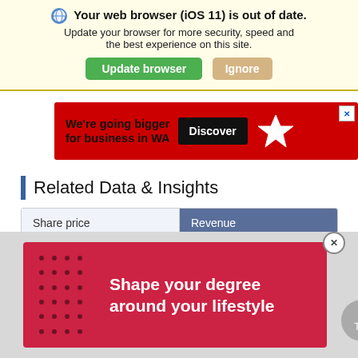Your web browser (iOS 11) is out of date. Update your browser for more security, speed and the best experience on this site. [Update browser] [Ignore]
[Figure (screenshot): Red advertisement banner: 'We're going bigger for business in WA', Discover button, star logo, close X]
Related Data & Insights
Share price | Revenue
[Figure (screenshot): Red advertisement banner: 'Shape your degree around your lifestyle' with dot pattern on left side, and a close button and Top/up arrow button]